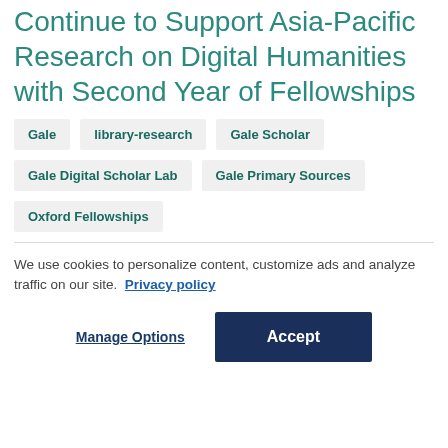Continue to Support Asia-Pacific Research on Digital Humanities with Second Year of Fellowships
Gale
library-research
Gale Scholar
Gale Digital Scholar Lab
Gale Primary Sources
Oxford Fellowships
We use cookies to personalize content, customize ads and analyze traffic on our site. Privacy policy
Manage Options
Accept